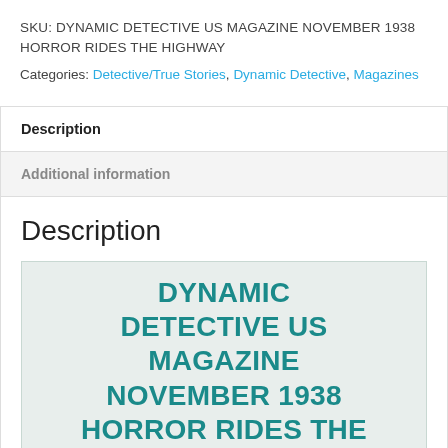SKU: DYNAMIC DETECTIVE US MAGAZINE NOVEMBER 1938 HORROR RIDES THE HIGHWAY
Categories: Detective/True Stories, Dynamic Detective, Magazines
Description
Additional information
Description
[Figure (other): Teal text on light green background reading: DYNAMIC DETECTIVE US MAGAZINE NOVEMBER 1938 HORROR RIDES THE]